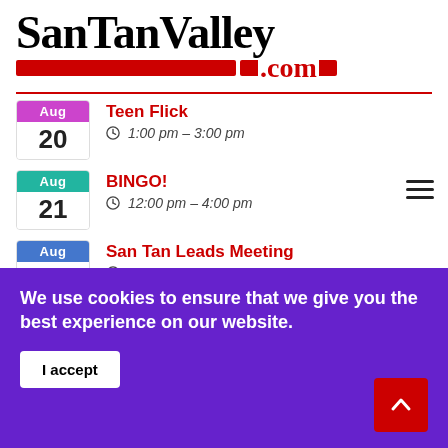SanTanValley.com
Aug 20 | Teen Flick | 1:00 pm - 3:00 pm
Aug 21 | BINGO! | 12:00 pm - 4:00 pm
Aug 23 | San Tan Leads Meeting | 7:30 am - 9:00 am
We use cookies to ensure that we give you the best experience on our website.
I accept